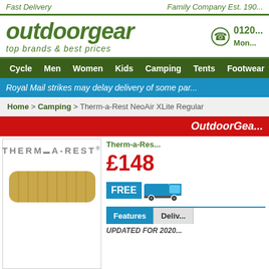Fast Delivery | Family Company Est. 190...
[Figure (logo): outdoorgear logo with tagline 'top brands & best prices' and phone number 0120... Mon...]
Navigation: Cycle | Men | Women | Kids | Camping | Tents | Footwear
Royal Mail strikes may delay delivery of some par...
Home > Camping > Therm-a-Rest NeoAir XLite Regular
OutdoorGea...
[Figure (logo): Therm-a-Rest product image showing logo and sleeping mat in gold/yellow color]
Therm-a-Res...
£148
FREE delivery
Features | Deliv...
UPDATED FOR 2020...